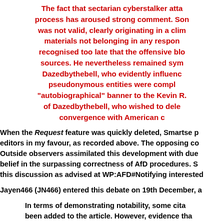The fact that sectarian cyberstalker atta process has aroused strong comment. Son was not valid, clearly originating in a clim materials not belonging in any respon recognised too late that the offensive blo sources. He nevertheless remained sym Dazedbythebell, who evidently influenc pseudonymous entities were compl "autobiographical" banner to the Kevin R. of Dazedbythebell, who wished to dele convergence with American c
When the Request feature was quickly deleted, Smartse p editors in my favour, as recorded above. The opposing co Outside observers assimilated this development with due belief in the surpassing correctness of AfD procedures. S this discussion as advised at WP:AFD#Notifying interested
Jayen466 (JN466) entered this debate on 19th December, a
In terms of demonstrating notability, some cita been added to the article. However, evidence tha